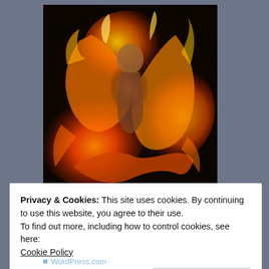[Figure (photo): A dramatic photograph of a phoenix or fire dancer figure surrounded by swirling orange and yellow flames against a dark background.]
— photocredit/thanks: satiiiva
✦ SITE METABASE ✦
Privacy & Cookies: This site uses cookies. By continuing to use this website, you agree to their use.
To find out more, including how to control cookies, see here:
Cookie Policy
Close and accept
WordPress.com